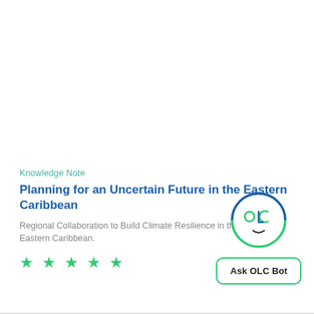Knowledge Note
Planning for an Uncertain Future in the Eastern Caribbean
Regional Collaboration to Build Climate Resilience in the Eastern Caribbean.
[Figure (illustration): OLC Bot logo: a circle with a smiley face made of the letters O, L, C as eyes/features, with a blue and green border]
★ ★ ★ ★ ★
Ask OLC Bot